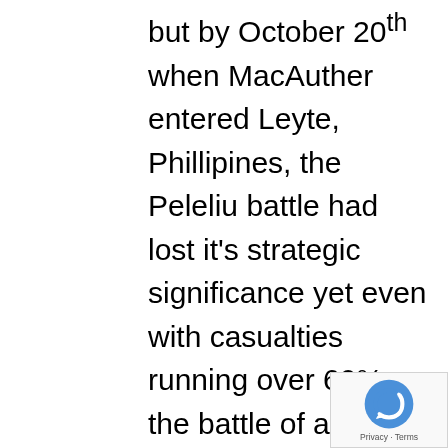but by October 20th when MacAuther entered Leyte, Phillipines, the Peleliu battle had lost it's strategic significance yet even with casualties running over 60%, the battle of attrition continued until November 27th, 1944. The 79-day battle left 2,000 men killed and 6,000 wounded on the U.S. side and 10,900 men killed and 200 captured or wounded on the Japanese side. This battle, like the next two battles at Iwo Jima, and Okinawa, raised great concern for the probable high degree of attrition casualties on